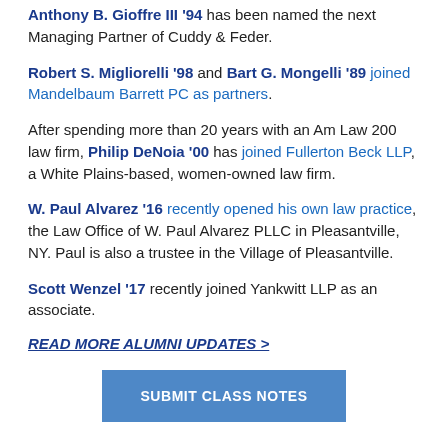Anthony B. Gioffre III '94 has been named the next Managing Partner of Cuddy & Feder.
Robert S. Migliorelli '98 and Bart G. Mongelli '89 joined Mandelbaum Barrett PC as partners.
After spending more than 20 years with an Am Law 200 law firm, Philip DeNoia '00 has joined Fullerton Beck LLP, a White Plains-based, women-owned law firm.
W. Paul Alvarez '16 recently opened his own law practice, the Law Office of W. Paul Alvarez PLLC in Pleasantville, NY. Paul is also a trustee in the Village of Pleasantville.
Scott Wenzel '17 recently joined Yankwitt LLP as an associate.
READ MORE ALUMNI UPDATES >
SUBMIT CLASS NOTES